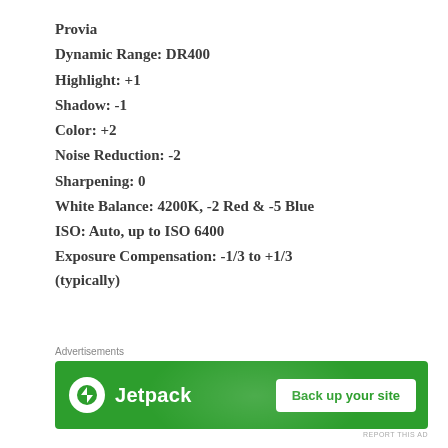Provia
Dynamic Range: DR400
Highlight: +1
Shadow: -1
Color: +2
Noise Reduction: -2
Sharpening: 0
White Balance: 4200K, -2 Red & -5 Blue
ISO: Auto, up to ISO 6400
Exposure Compensation: -1/3 to +1/3 (typically)
[Figure (other): Jetpack advertisement banner with green background, Jetpack logo on left and 'Back up your site' button on right]